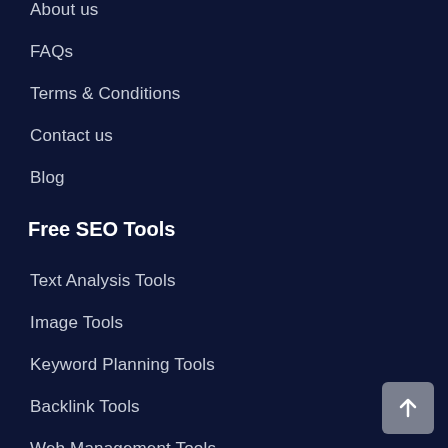About us
FAQs
Terms & Conditions
Contact us
Blog
Free SEO Tools
Text Analysis Tools
Image Tools
Keyword Planning Tools
Backlink Tools
Web Management Tools
Website Checker Tools
IP Tools